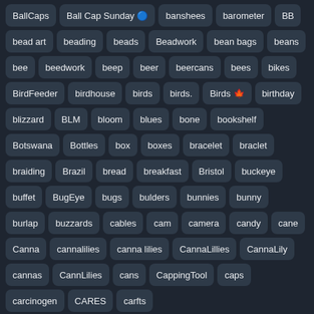BallCaps
Ball Cap Sunday 🔵
banshees
barometer
BB
bead art
beading
beads
Beadwork
bean bags
beans
bee
beedwork
beep
beer
beercans
bees
bikes
BirdFeeder
birdhouse
birds
birds.
Birds 🍁
birthday
blizzard
BLM
bloom
blues
bone
bookshelf
Botswana
Bottles
box
boxes
bracelet
braclet
braiding
Brazil
bread
breakfast
Bristol
buckeye
buffet
BugEye
bugs
bulders
bunnies
bunny
burlap
buzzards
cables
cam
camera
candy
cane
Canna
cannalilies
canna lilies
CannaLillies
CannaLily
cannas
CannLilies
cans
CappingTool
caps
carcinogen
CARES
carfts